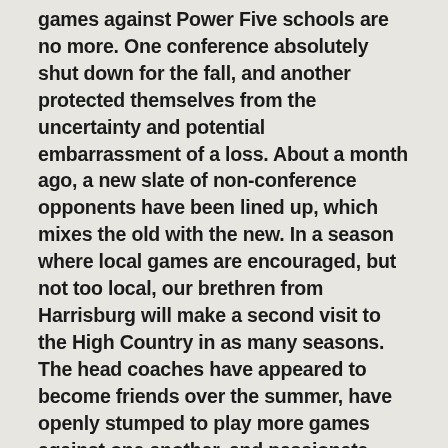games against Power Five schools are no more. One conference absolutely shut down for the fall, and another protected themselves from the uncertainty and potential embarrassment of a loss. About a month ago, a new slate of non-conference opponents have been lined up, which mixes the old with the new. In a season where local games are encouraged, but not too local, our brethren from Harrisburg will make a second visit to the High Country in as many seasons. The head coaches have appeared to become friends over the summer, have openly stumped to play more games against one another, and passionate debate already exists between each fan base. All the pieces are there for a budding rivalry. Except one thing. Eventually someone else has to win. That could occur this year, in a future bowl game,